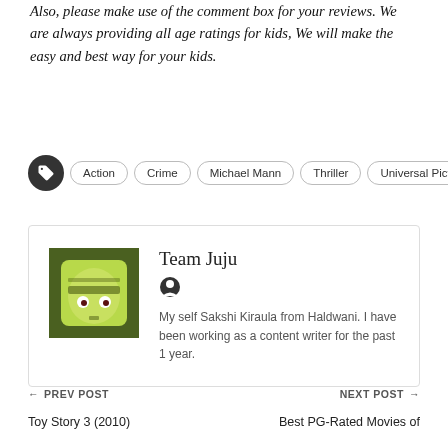Also, please make use of the comment box for your reviews. We are always providing all age ratings for kids, We will make the easy and best way for your kids.
Action
Crime
Michael Mann
Thriller
Universal Pictures
Team Juju
My self Sakshi Kiraula from Haldwani. I have been working as a content writer for the past 1 year.
← PREV POST
NEXT POST →
Toy Story 3 (2010)
Best PG-Rated Movies of